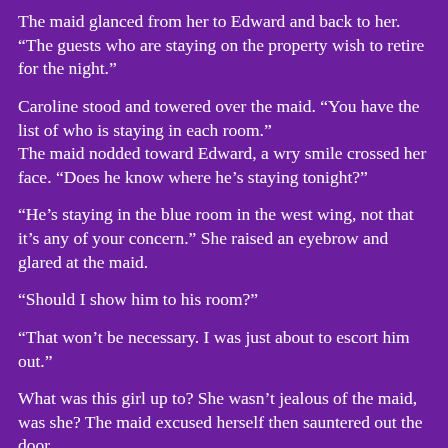The maid glanced from her to Edward and back to her. “The guests who are staying on the property wish to retire for the night.”
Caroline stood and towered over the maid. “You have the list of who is staying in each room.”
The maid nodded toward Edward, a wry smile crossed her face. “Does he know where he’s staying tonight?”
“He’s staying in the blue room in the west wing, not that it’s any of your concern.” She raised an eyebrow and glared at the maid.
“Should I show him to his room?”
“That won’t be necessary. I was just about to escort him out.”
What was this girl up to? She wasn’t jealous of the maid, was she? The maid excused herself then sauntered out the door.
Caroline turned to him. “It’s been a long night. I trust you remember how to get to your room?”
She struggled to read his expression and it bothered her.